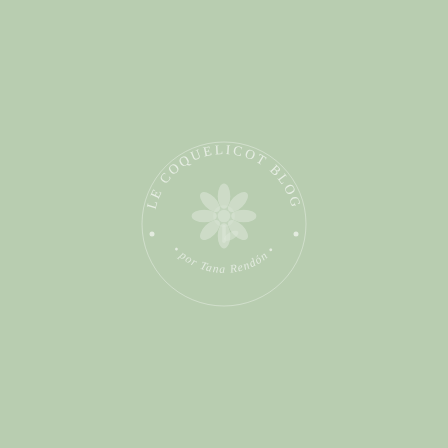[Figure (logo): Le Coquelicot Blog logo — circular badge with text 'LE COQUELICOT BLOG' arced around the top, '• por Tana Rendón •' arced around the bottom, with dots as separators, and a floral/poppy illustration in the center. Rendered in a light sage/white color on a sage green background.]